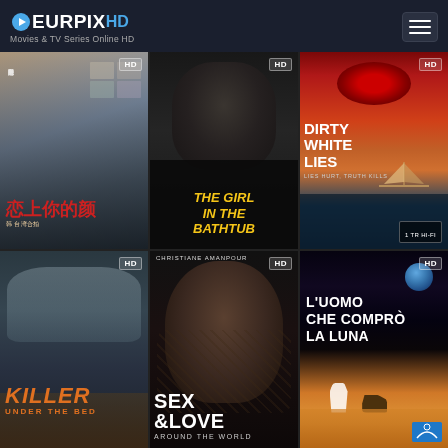[Figure (screenshot): EuroPix HD website header with logo showing 'EUROPIXHD Movies & TV Series Online HD' and hamburger menu icon on dark blue background]
[Figure (screenshot): Movie poster grid with 6 movie thumbnails: Row 1: Chinese romance film (恋上你的颜), The Girl in the Bathtub, Dirty White Lies. Row 2: Killer Under the Bed, Sex & Love Around the World, L'Uomo Che Comprò La Luna. All marked HD.]